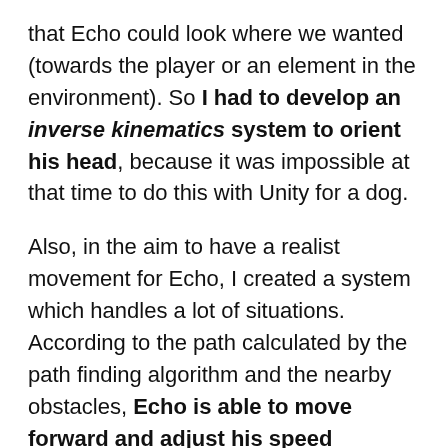that Echo could look where we wanted (towards the player or an element in the environment). So I had to develop an inverse kinematics system to orient his head, because it was impossible at that time to do this with Unity for a dog.
Also, in the aim to have a realist movement for Echo, I created a system which handles a lot of situations. According to the path calculated by the path finding algorithm and the nearby obstacles, Echo is able to move forward and adjust his speed between the walk, the trot or the run, his animation being determined by his movement speed.